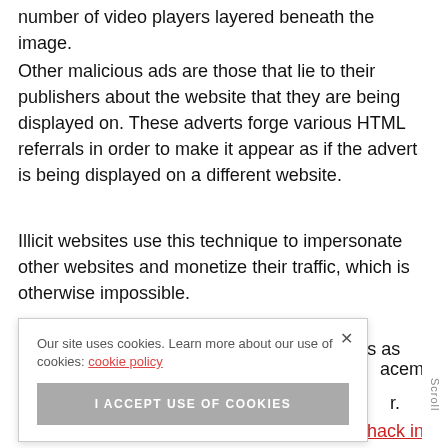number of video players layered beneath the image.
Other malicious ads are those that lie to their publishers about the website that they are being displayed on. These adverts forge various HTML referrals in order to make it appear as if the advert is being displayed on a different website.
Illicit websites use this technique to impersonate other websites and monetize their traffic, which is otherwise impossible.
Old blogs are often victims of these practices as [partially obscured by cookie banner] ...acements ...r. ...to hack into ...money from ...ad fraud.
Our site uses cookies. Learn more about our use of cookies: cookie policy
I ACCEPT USE OF COOKIES